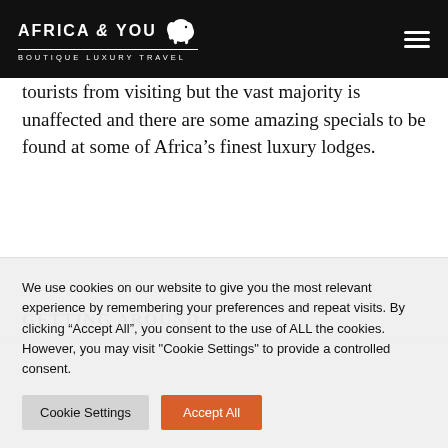AFRICA & YOU BOUTIQUE LUXURY TRAVEL
tourists from visiting but the vast majority is unaffected and there are some amazing specials to be found at some of Africa’s finest luxury lodges.
GETTING AROUND
We use cookies on our website to give you the most relevant experience by remembering your preferences and repeat visits. By clicking “Accept All”, you consent to the use of ALL the cookies. However, you may visit "Cookie Settings" to provide a controlled consent.